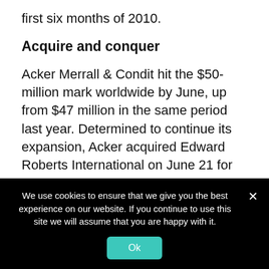first six months of 2010.
Acquire and conquer
Acker Merrall & Condit hit the $50-million mark worldwide by June, up from $47 million in the same period last year. Determined to continue its expansion, Acker acquired Edward Roberts International on June 21 for an undisclosed sum. As things stand, these additional wine-auction revenues will be nothing more than a drop in the ocean; the Chicago-based auction house made $2 million from eight sales in the past
We use cookies to ensure that we give you the best experience on our website. If you continue to use this site we will assume that you are happy with it.